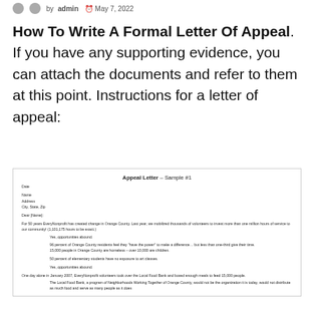by admin  May 7, 2022
How To Write A Formal Letter Of Appeal. If you have any supporting evidence, you can attach the documents and refer to them at this point. Instructions for a letter of appeal:
[Figure (other): Sample appeal letter document image showing a formatted letter with Date, Name, Address, City/State/Zip fields, salutation, and body paragraphs about EveryNonprofit creating change in Orange County.]
Appeal Letter – Sample #1